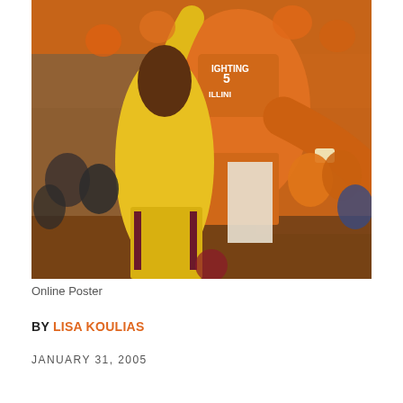[Figure (photo): Basketball game action photo showing two players — one in a yellow Minnesota Gophers jersey and one in an orange Fighting Illini #5 jersey — competing for the ball, with a crowd of fans in orange and blue in the background.]
Online Poster
BY LISA KOULIAS
JANUARY 31, 2005